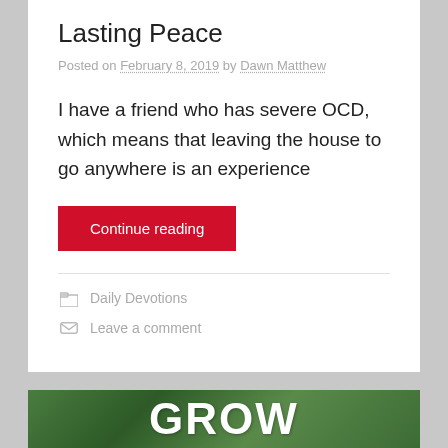Lasting Peace
Posted on February 8, 2019 by Dawn Matthew
I have a friend who has severe OCD, which means that leaving the house to go anywhere is an experience
Continue reading
Daily Devotions
Leave a comment
[Figure (photo): Green leafy background with large white bold text reading GROW]